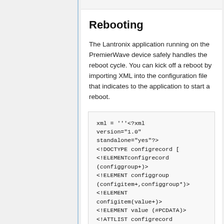Rebooting
The Lantronix application running on the PremierWave device safely handles the reboot cycle. You can kick off a reboot by importing XML into the configuration file that indicates to the application to start a reboot.
xml = '''<?xml version="1.0" standalone="yes"?>
<!DOCTYPE configrecord [
<!ELEMENTconfigrecord (configgroup+)>
<!ELEMENT configgroup (configitem+,configgroup*)>
<!ELEMENT configitem(value+)>
<!ELEMENT value (#PCDATA)>
<!ATTLIST configrecord